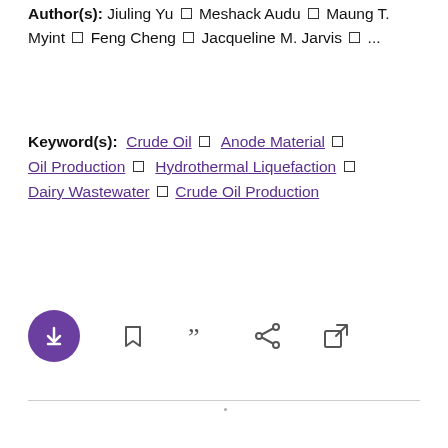Author(s): Jiuling Yu □ Meshack Audu □ Maung T. Myint □ Feng Cheng □ Jacqueline M. Jarvis □ ...
Keyword(s): Crude Oil □ Anode Material □ Oil Production □ Hydrothermal Liquefaction □ Dairy Wastewater □ Crude Oil Production
[Figure (other): Row of action icons: download (purple circle), bookmark, cite/quote, share, external link]